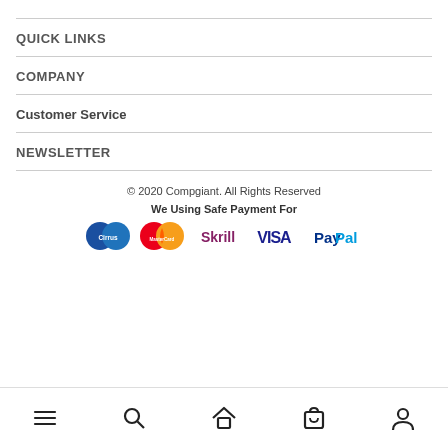QUICK LINKS
COMPANY
Customer Service
NEWSLETTER
© 2020 Compgiant. All Rights Reserved
We Using Safe Payment For
[Figure (logo): Payment method logos: Cirrus, MasterCard, Skrill, VISA, PayPal]
[Figure (infographic): Bottom navigation bar with menu, search, home, cart, and account icons]